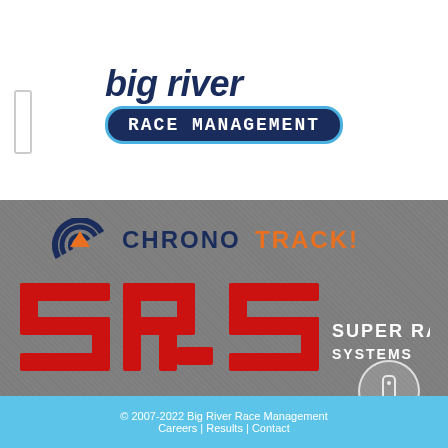[Figure (logo): Big River Race Management logo with italic bold text 'big river' above a dark navy rounded rectangle containing 'RACE MANAGEMENT' in white monospace letters, outlined in light blue]
[Figure (logo): ChronoTrack logo — circular wave mark in dark navy/orange with 'CHRONO TRACK.' text partially visible on grey textured background]
[Figure (logo): SRS Super Race Systems logo — red blocky 'SRS' letters on left with white 'SUPER RACE SYSTEMS' text on grey textured background]
© 2007-2022 Big River Race Management
Careers | Results | Contact